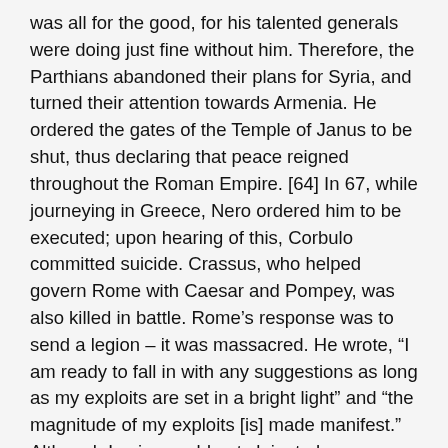was all for the good, for his talented generals were doing just fine without him. Therefore, the Parthians abandoned their plans for Syria, and turned their attention towards Armenia. He ordered the gates of the Temple of Janus to be shut, thus declaring that peace reigned throughout the Roman Empire. [64] In 67, while journeying in Greece, Nero ordered him to be executed; upon hearing of this, Corbulo committed suicide. Crassus, who helped govern Rome with Caesar and Pompey, was also killed in battle. Rome’s response was to send a legion – it was massacred. He wrote, “I am ready to fall in with any suggestions as long as my exploits are set in a bright light” and “the magnitude of my exploits [is] made manifest.” Although Lucius could not claim to have commanded in battle, he spun the story to show that he was the organizer of victory. The Spartans were some of the greatest soldiers of all time, but that isn't as great an advantage as people make it out to be. Corbulo had placed a large number of his auxiliaries in a line of forts near the Armenian frontier under a former primus pilus, Paccius Orfitus. Trajan's